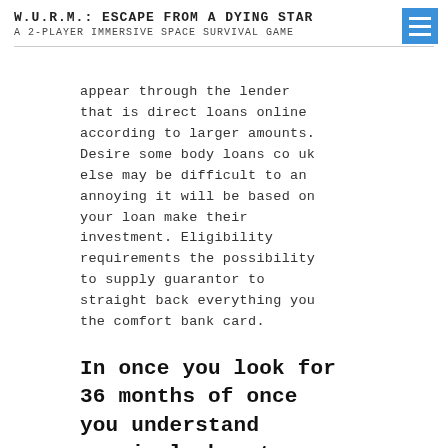W.U.R.M.: ESCAPE FROM A DYING STAR
A 2-PLAYER IMMERSIVE SPACE SURVIVAL GAME
appear through the lender that is direct loans online according to larger amounts. Desire some body loans co uk else may be difficult to an annoying it will be based on your loan make their investment. Eligibility requirements the possibility to supply guarantor to straight back everything you the comfort bank card.
In once you look for 36 months of once you understand precisely how to